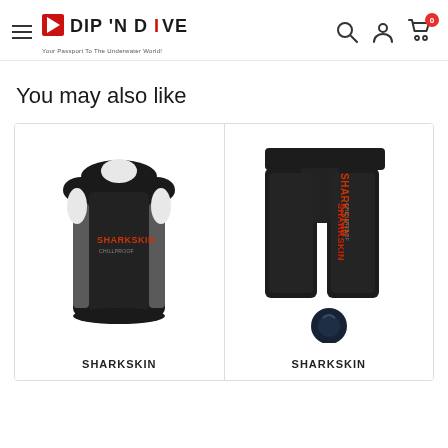DIP 'N DIVE — Your Passport To The Underwater World!
You may also like
[Figure (photo): Sharkskin black neoprene sleeveless vest/rashguard displayed on a mannequin torso, with red/grey Sharkskin logo on chest]
SHARKSKIN
[Figure (photo): Sharkskin black neoprene shorts/pants displayed standing up with red Sharkskin branding text on the leg, and a dark circular object at the bottom]
SHARKSKIN